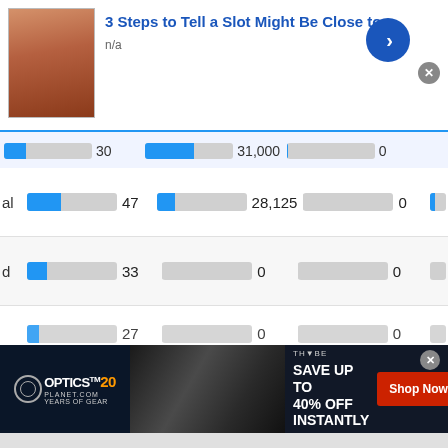[Figure (screenshot): Promotional ad banner with avatar photo of elderly man and title '3 Steps to Tell a Slot Might Be Close to' with n/a subtitle and blue navigation arrow button]
|  | col1 | col2 | col3 |
| --- | --- | --- | --- |
|  | 30 | 31,000 | 0 |
| al | 47 | 28,125 | 0 |
| d | 33 | 0 | 0 |
|  | 27 | 0 | 0 |
[Figure (screenshot): Advertisement banner for Optics Planet 20 years of gear and Tribe offering Save Up to 40% Off Instantly with Shop Now button]